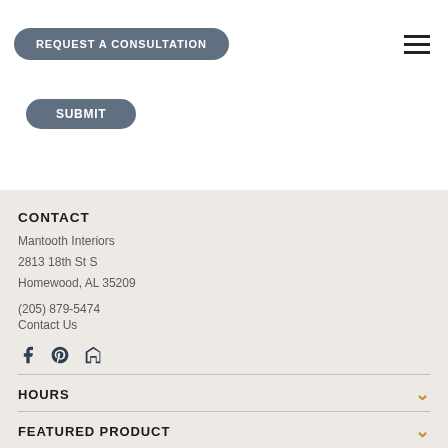REQUEST A CONSULTATION
SUBMIT
CONTACT
Mantooth Interiors
2813 18th St S
Homewood, AL 35209
(205) 879-5474
Contact Us
[Figure (infographic): Social media icons: Facebook, Pinterest, Houzz]
HOURS
FEATURED PRODUCT